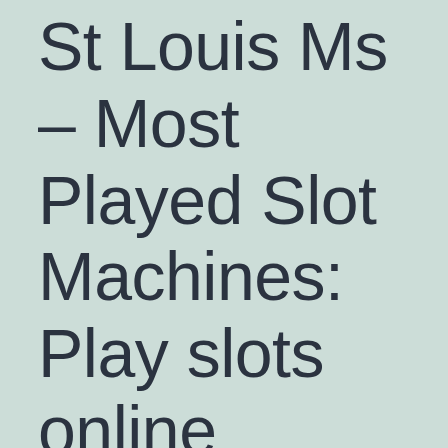St Louis Ms – Most Played Slot Machines: Play slots online